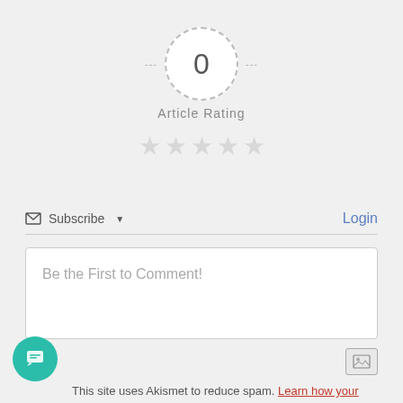[Figure (infographic): Article rating widget: dashed circle with number 0 in center, flanked by dashes, with 'Article Rating' label below and 5 empty grey stars]
Subscribe ▾
Login
Be the First to Comment!
This site uses Akismet to reduce spam. Learn how your comment data is processed.